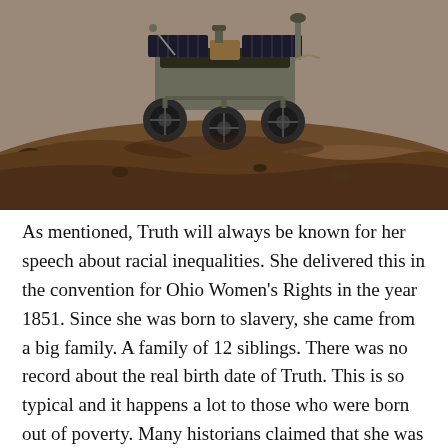[Figure (photo): A Mars rover photographed on rocky, reddish-brown terrain. The rover has six large wheels and various mechanical components including solar panels and instruments visible on top.]
As mentioned, Truth will always be known for her speech about racial inequalities. She delivered this in the convention for Ohio Women's Rights in the year 1851. Since she was born to slavery, she came from a big family. A family of 12 siblings. There was no record about the real birth date of Truth. This is so typical and it happens a lot to those who were born out of poverty. Many historians claimed that she was born though around the year 1797. However, for the exact date yet, that is to be left answered one of these days. The father of truth was captured from Ghana. His name was James Baumfree. The